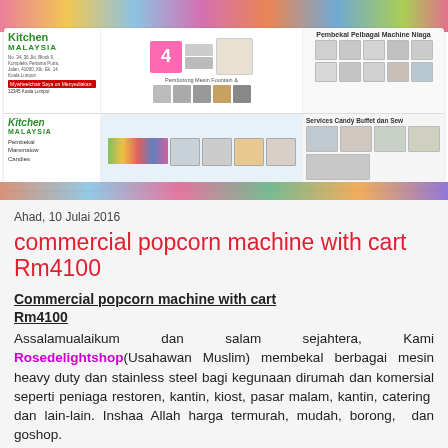[Figure (photo): Kitchen Malaysia banner advertisement showing various kitchen machines and equipment including popcorn machine, fountain machine, candy machines, and appliances. Colorful graffiti art in background.]
Ahad, 10 Julai 2016
commercial popcorn machine with cart Rm4100
Commercial popcorn machine with cart Rm4100
Assalamualaikum dan salam sejahtera, Kami Rosedelightshop(Usahawan Muslim) membekal berbagai mesin heavy duty dan stainless steel bagi kegunaan dirumah dan komersial seperti peniaga restoren, kantin, kiost, pasar malam, kantin, catering  dan lain-lain. Inshaa Allah harga termurah, mudah, borong,  dan goshop.